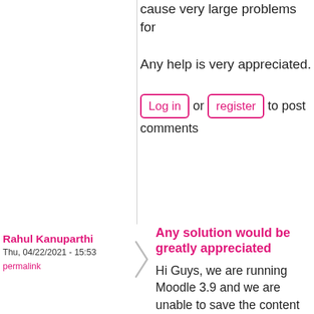cause very large problems for
Any help is very appreciated.
Log in or register to post comments
Rahul Kanuparthi
Thu, 04/22/2021 - 15:53
permalink
Any solution would be greatly appreciated
Hi Guys, we are running Moodle 3.9 and we are unable to save the content state of